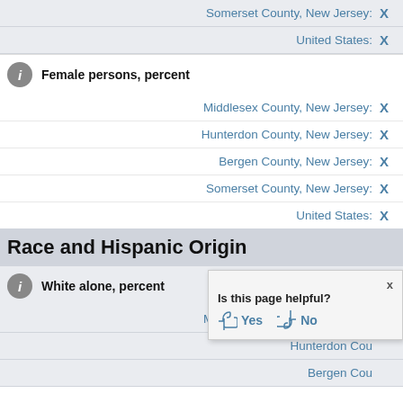Somerset County, New Jersey: X
United States: X
Female persons, percent
Middlesex County, New Jersey: X
Hunterdon County, New Jersey: X
Bergen County, New Jersey: X
Somerset County, New Jersey: X
United States: X
Race and Hispanic Origin
White alone, percent
Middlesex County, New Jersey: X
Hunterdon County, New Jersey: X
Bergen County, New Jersey: X
Is this page helpful? Yes No